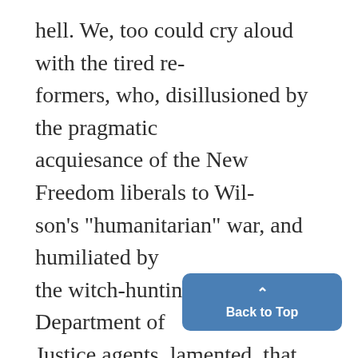hell. We, too could cry aloud with the tired re-formers, who, disillusioned by the pragmatic acquiesance of the New Freedom liberals to Wil-son's "humanitarian" war, and humiliated by the witch-hunting raids of the Department of Justice agents, lamented, that, while they still believed in reform they no longer believed in man. But strangely enough, having lived through